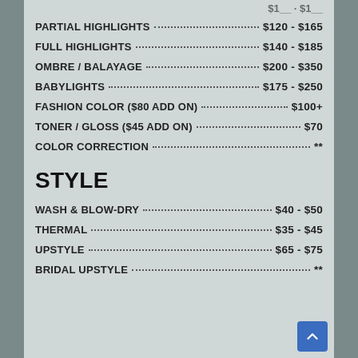PARTIAL HIGHLIGHTS ... $120 - $165
FULL HIGHLIGHTS ... $140 - $185
OMBRE / BALAYAGE ... $200 - $350
BABYLIGHTS ... $175 - $250
FASHION COLOR ($80 ADD ON) ... $100+
TONER / GLOSS ($45 ADD ON) ... $70
COLOR CORRECTION ... **
STYLE
WASH & BLOW-DRY ... $40 - $50
THERMAL ... $35 - $45
UPSTYLE ... $65 - $75
BRIDAL UPSTYLE ... **